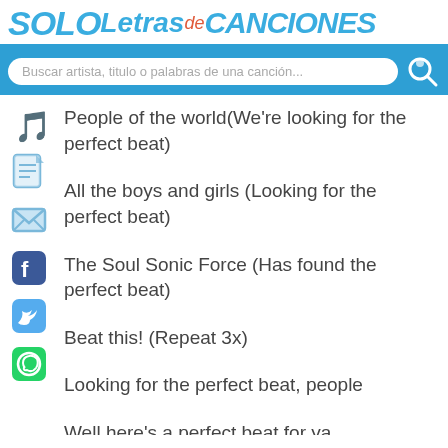SOLOLetrasdeCanciones
Buscar artista, titulo o palabras de una canción...
People of the world(We're looking for the perfect beat)
All the boys and girls (Looking for the perfect beat)
The Soul Sonic Force (Has found the perfect beat)
Beat this! (Repeat 3x)
Looking for the perfect beat, people
Well here's a perfect beat for ya